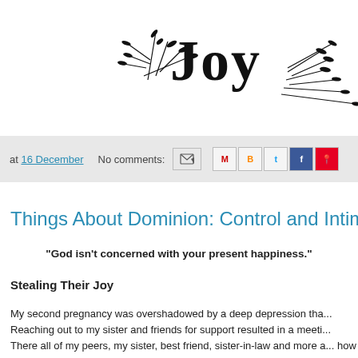[Figure (illustration): Decorative banner image with the word 'JOY' in large serif font surrounded by botanical leaf/branch illustrations on a white background, cropped showing right portion]
at 16 December   No comments:   [email icon] [share icons: M, B, T, F, P]
Things About Dominion: Control and Intim...
"God isn't concerned with your present happiness."
Stealing Their Joy
My second pregnancy was overshadowed by a deep depression tha... Reaching out to my sister and friends for support resulted in a meeti... There all of my peers, my sister, best friend, sister-in-law and more a... how my self focus and sloth (the biblical term for depression) had be... about marriage and the futures that they were looking forward to. Th... hope of many young women at Marble. None of these girls were ma... children. We were all around the same age. I had gotten an early st...